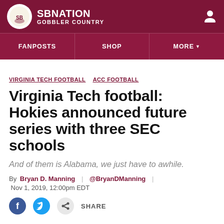SB NATION GOBBLER COUNTRY
FANPOSTS SHOP MORE
VIRGINIA TECH FOOTBALL ACC FOOTBALL
Virginia Tech football: Hokies announced future series with three SEC schools
And of them is Alabama, we just have to awhile.
By Bryan D. Manning | @BryanDManning | Nov 1, 2019, 12:00pm EDT
SHARE